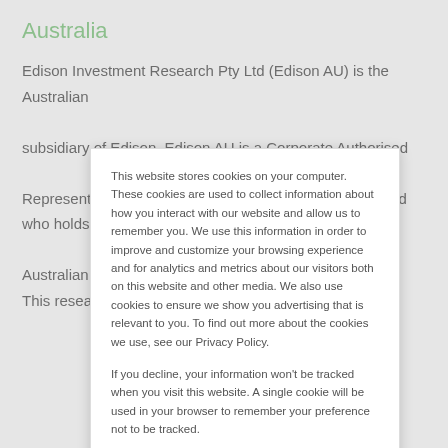Australia
Edison Investment Research Pty Ltd (Edison AU) is the Australian subsidiary of Edison. Edison AU is a Corporate Authorised Representative (1252501) of Crown Wealth Group Pty Ltd who holds an Australian Financial Services Licence (Number: 494274). This research is
This website stores cookies on your computer. These cookies are used to collect information about how you interact with our website and allow us to remember you. We use this information in order to improve and customize your browsing experience and for analytics and metrics about our visitors both on this website and other media. We also use cookies to ensure we show you advertising that is relevant to you. To find out more about the cookies we use, see our Privacy Policy.
If you decline, your information won't be tracked when you visit this website. A single cookie will be used in your browser to remember your preference not to be tracked.